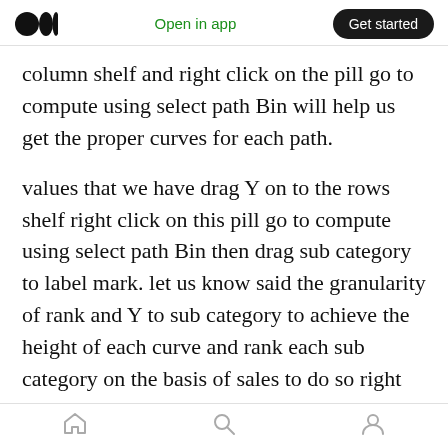Medium logo | Open in app | Get started
column shelf and right click on the pill go to compute using select path Bin will help us get the proper curves for each path.
values that we have drag Y on to the rows shelf right click on this pill go to compute using select path Bin then drag sub category to label mark. let us know said the granularity of rank and Y to sub category to achieve the height of each curve and rank each sub category on the basis of sales to do so right click on the white pill and select edit table calculation in nested calculations select rank in compute using specific dimensions
Home | Search | Profile